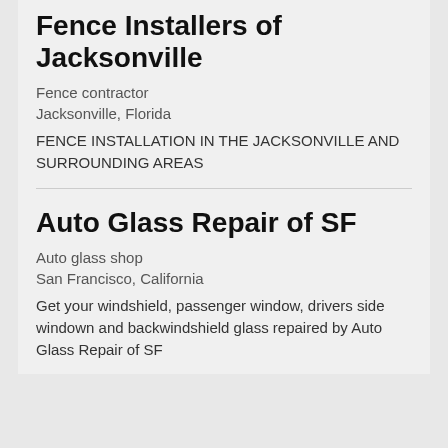Fence Installers of Jacksonville
Fence contractor
Jacksonville, Florida
FENCE INSTALLATION IN THE JACKSONVILLE AND SURROUNDING AREAS
Auto Glass Repair of SF
Auto glass shop
San Francisco, California
Get your windshield, passenger window, drivers side windown and backwindshield glass repaired by Auto Glass Repair of SF